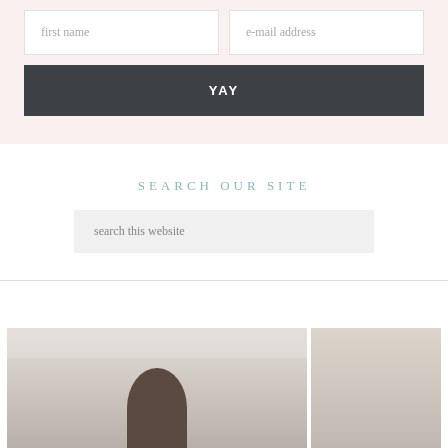[Figure (screenshot): Newsletter signup form with first name and e-mail address fields and a YAY submit button on a light pink background]
SEARCH OUR SITE
[Figure (screenshot): Search input box with placeholder text 'search this website']
[Figure (photo): Partial photo at bottom showing what appears to be art/painting supplies and a dark figure, cropped at page bottom]